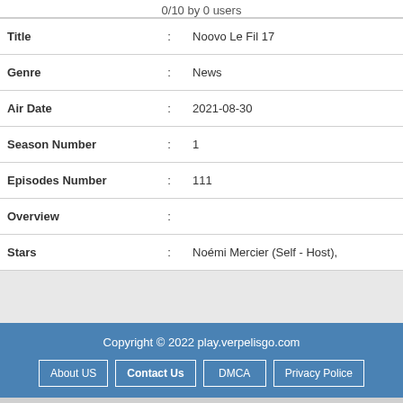0/10 by 0 users
| Title | : | Noovo Le Fil 17 |
| Genre | : | News |
| Air Date | : | 2021-08-30 |
| Season Number | : | 1 |
| Episodes Number | : | 111 |
| Overview | : |  |
| Stars | : | Noémi Mercier (Self - Host), |
Copyright © 2022 play.verpelisgo.com | About US | Contact Us | DMCA | Privacy Police